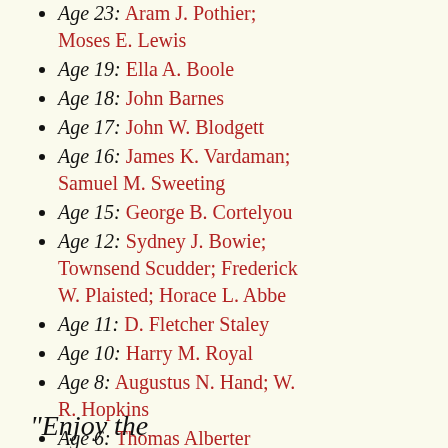Age 23: Aram J. Pothier; Moses E. Lewis
Age 19: Ella A. Boole
Age 18: John Barnes
Age 17: John W. Blodgett
Age 16: James K. Vardaman; Samuel M. Sweeting
Age 15: George B. Cortelyou
Age 12: Sydney J. Bowie; Townsend Scudder; Frederick W. Plaisted; Horace L. Abbe
Age 11: D. Fletcher Staley
Age 10: Harry M. Royal
Age 8: Augustus N. Hand; W. R. Hopkins
Age 6: Thomas Alberter Chandler; A. J. Sherwood
Age 4: Frank Evans
Age 1: Herbert D. Jameson
"Enjoy the